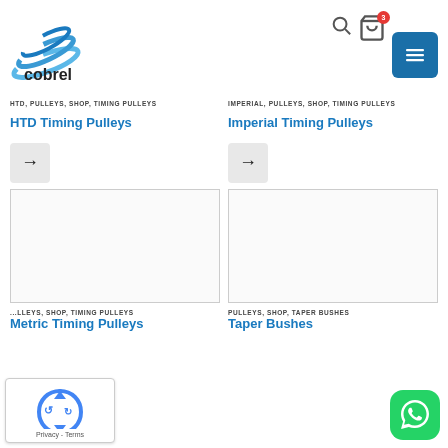[Figure (logo): Cobrel company logo with blue swoosh and 'cobrel' text]
HTD, PULLEYS, SHOP, TIMING PULLEYS
HTD Timing Pulleys
IMPERIAL, PULLEYS, SHOP, TIMING PULLEYS
Imperial Timing Pulleys
[Figure (photo): HTD Timing Pulleys product image placeholder]
[Figure (photo): Imperial Timing Pulleys product image placeholder]
...LLEYS, SHOP, TIMING PULLEYS
Metric Timing Pulleys
PULLEYS, SHOP, TAPER BUSHES
Taper Bushes